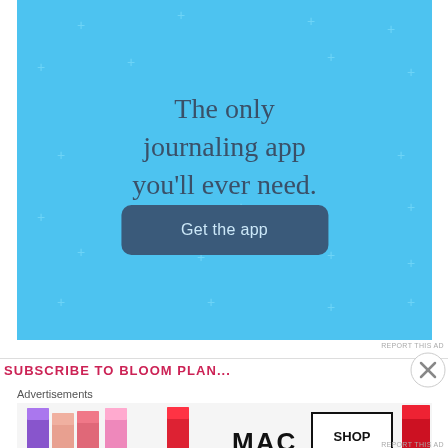[Figure (screenshot): Blue journaling app advertisement with sparkle/cross decorations, large text 'The only journaling app you'll ever need.' and a dark blue 'Get the app' button]
REPORT THIS AD
Advertisements
[Figure (screenshot): MAC cosmetics advertisement showing colorful lipsticks on left and MAC logo with SHOP NOW box on right]